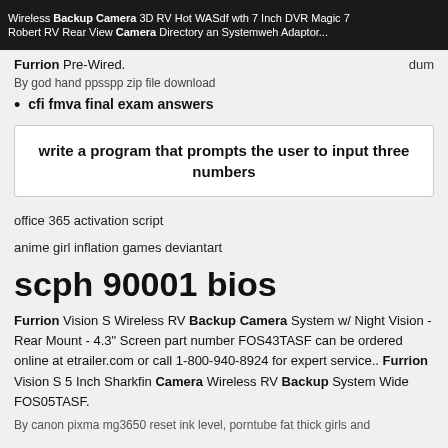Wireless Backup Camera 3D RV Hot WASdf wth 7 Inch DVR Magic 7 Robert RV Rear View Camera Directory an Systemweh Adaptor...
Furrion Pre-Wired.
By god hand ppsspp zip file download
cfi fmva final exam answers
write a program that prompts the user to input three numbers
office 365 activation script
anime girl inflation games deviantart
scph 90001 bios
Furrion Vision S Wireless RV Backup Camera System w/ Night Vision - Rear Mount - 4.3" Screen part number FOS43TASF can be ordered online at etrailer.com or call 1-800-940-8924 for expert service.. Furrion Vision S 5 Inch Sharkfin Camera Wireless RV Backup System Wide FOS05TASF.
By canon pixma mg3650 reset ink level, porntube fat thick girls and